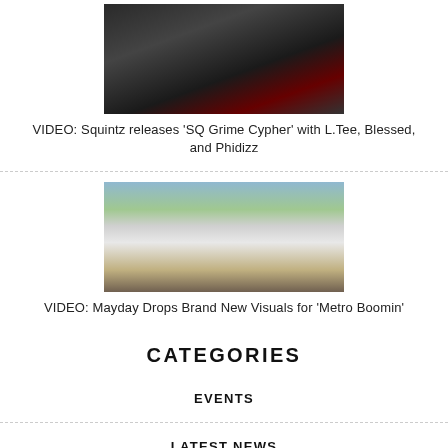[Figure (photo): Dark-toned photo of a person wearing glasses and a dark jacket]
VIDEO: Squintz releases 'SQ Grime Cypher' with L.Tee, Blessed, and Phidizz
[Figure (photo): Outdoor photo of a person in a white t-shirt with trees in the background]
VIDEO: Mayday Drops Brand New Visuals for 'Metro Boomin'
CATEGORIES
EVENTS
LATEST NEWS